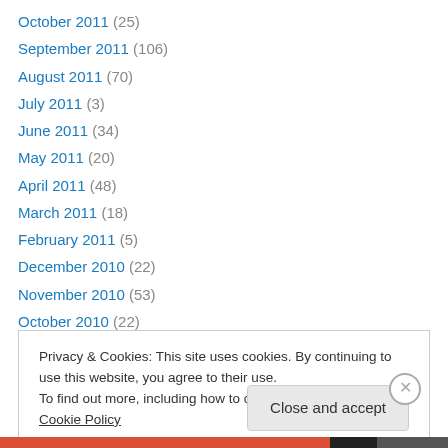October 2011 (25)
September 2011 (106)
August 2011 (70)
July 2011 (3)
June 2011 (34)
May 2011 (20)
April 2011 (48)
March 2011 (18)
February 2011 (5)
December 2010 (22)
November 2010 (53)
October 2010 (22)
Privacy & Cookies: This site uses cookies. By continuing to use this website, you agree to their use. To find out more, including how to control cookies, see here: Cookie Policy
Close and accept